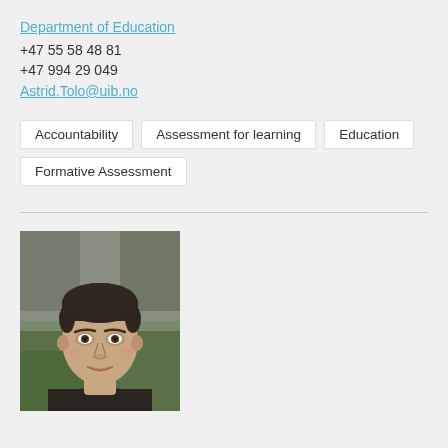Department of Education
+47 55 58 48 81
+47 994 29 049
Astrid.Tolo@uib.no
Accountability
Assessment for learning
Education
Formative Assessment
[Figure (photo): Portrait photo of a young man with short dark hair wearing a dark crew-neck shirt, standing outdoors with a blurred background]